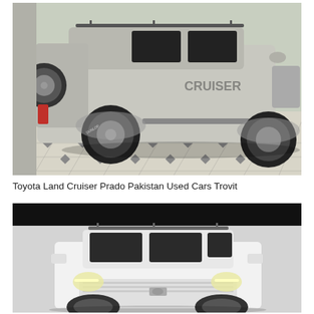[Figure (photo): Silver Toyota Land Cruiser Prado SUV photographed from the rear-side angle inside a garage with tiled floor. The vehicle shows the spare tire on the back, large off-road tires, roof rack, and side steps.]
Toyota Land Cruiser Prado Pakistan Used Cars Trovit
[Figure (photo): White Toyota Land Cruiser Prado SUV photographed from the front-side angle against a plain grey background. The vehicle shows the front grille, headlights, side mirrors, and roof rack. Dark black banner at the top of the image.]